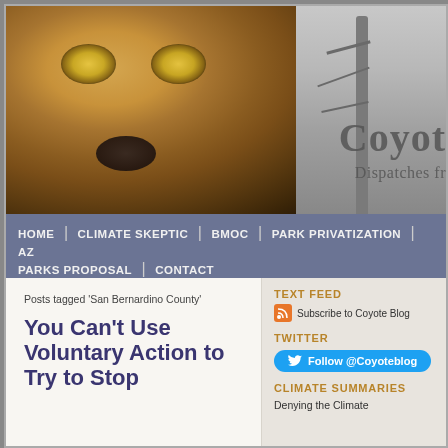[Figure (photo): Close-up photo of a coyote face with yellow eyes, and a winter forest scene with bare trees in the background]
Coyot
Dispatches fr
HOME | CLIMATE SKEPTIC | BMOC | PARK PRIVATIZATION | AZ PARKS PROPOSAL | CONTACT
Posts tagged 'San Bernardino County'
You Can't Use Voluntary Action to Try to Stop
TEXT FEED
Subscribe to Coyote Blog
TWITTER
Follow @Coyoteblog
CLIMATE SUMMARIES
Denying the Climate